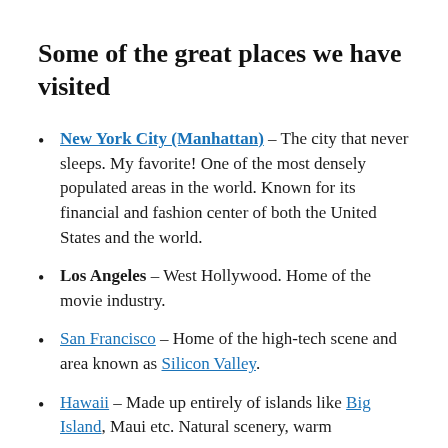Some of the great places we have visited
New York City (Manhattan) – The city that never sleeps. My favorite! One of the most densely populated areas in the world. Known for its financial and fashion center of both the United States and the world.
Los Angeles – West Hollywood. Home of the movie industry.
San Francisco – Home of the high-tech scene and area known as Silicon Valley.
Hawaii – Made up entirely of islands like Big Island, Maui etc. Natural scenery, warm